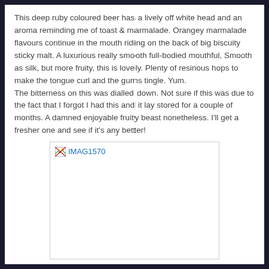This deep ruby coloured beer has a lively off white head and an aroma reminding me of toast & marmalade. Orangey marmalade flavours continue in the mouth riding on the back of big biscuity sticky malt. A luxurious really smooth full-bodied mouthful, Smooth as silk, but more fruity, this is lovely. Plenty of resinous hops to make the tongue curl and the gums tingle. Yum.
The bitterness on this was dialled down. Not sure if this was due to the fact that I forgot I had this and it lay stored for a couple of months. A damned enjoyable fruity beast nonetheless. I'll get a fresher one and see if it's any better!
[Figure (photo): Broken image placeholder labeled IMAG1570]